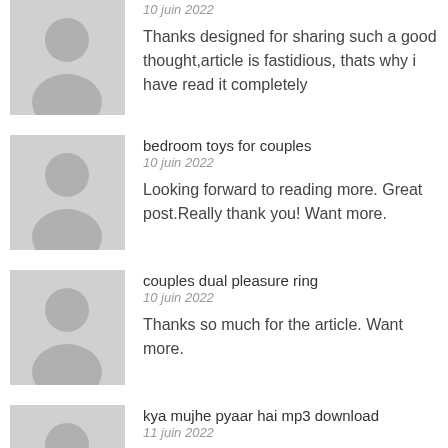[Figure (illustration): Grey placeholder avatar silhouette]
10 juin 2022
Thanks designed for sharing such a good thought,article is fastidious, thats why i have read it completely
[Figure (illustration): Grey placeholder avatar silhouette]
bedroom toys for couples
10 juin 2022
Looking forward to reading more. Great post.Really thank you! Want more.
[Figure (illustration): Grey placeholder avatar silhouette]
couples dual pleasure ring
10 juin 2022
Thanks so much for the article. Want more.
[Figure (illustration): Grey placeholder avatar silhouette]
kya mujhe pyaar hai mp3 download
11 juin 2022